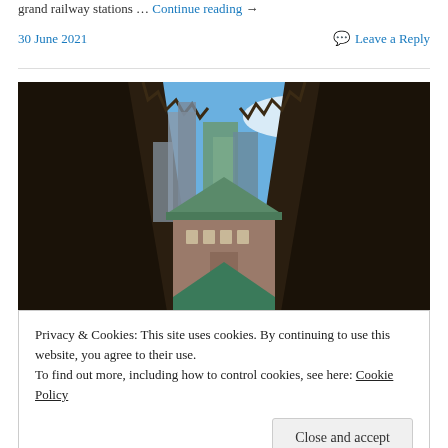grand railway stations … Continue reading →
30 June 2021    Leave a Reply
[Figure (photo): View from inside a railway station looking upward between two dark overhanging roof structures toward a historic station building with green roof, modern skyscrapers in the background under a blue sky with clouds.]
Privacy & Cookies: This site uses cookies. By continuing to use this website, you agree to their use.
To find out more, including how to control cookies, see here: Cookie Policy
Close and accept
[Figure (photo): Partial view of railway tracks with gravel, partially visible at the bottom of the page.]